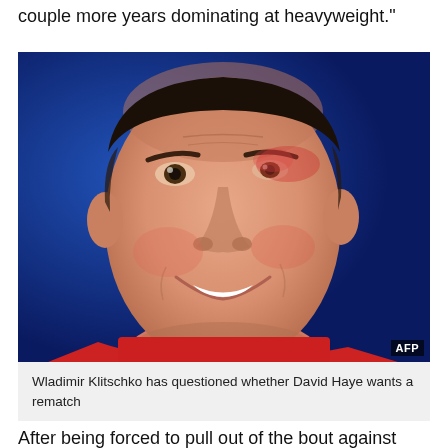couple more years dominating at heavyweight."
[Figure (photo): Close-up photo of Wladimir Klitschko smiling after a boxing match, with a bruised face, wearing red boxing gear, blue background. AFP watermark in bottom right corner.]
Wladimir Klitschko has questioned whether David Haye wants a rematch
After being forced to pull out of the bout against him...